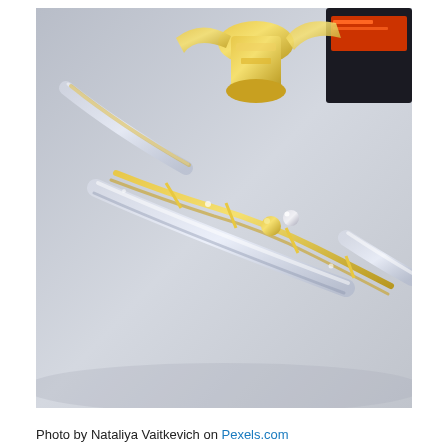[Figure (photo): Close-up photograph of trophy awards with gold and silver metallic star shapes, twisted metal ribbons, and crystal/acrylic bases on a light gray reflective surface. A dark box with red label is partially visible in the top right corner.]
Photo by Nataliya Vaitkevich on Pexels.com